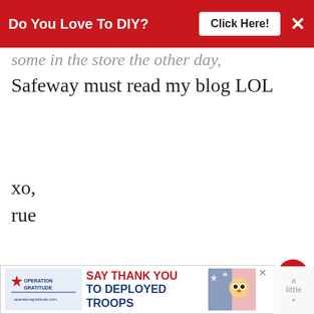Do You Love To DIY? Click Here!
some in the store the other day. Safeway must read my blog LOL
xo,
rue
REPLY DELETE
REPLIES
Kim
SEPTEMBER 16, 2015 AT 4:21 PM
[Figure (infographic): Operation Gratitude advertisement: SAY THANK YOU TO DEPLOYED TROOPS]
[Figure (infographic): What's Next panel: Decorating For Fall: The...]